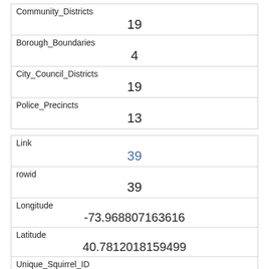| Community_Districts | 19 |
| Borough_Boundaries | 4 |
| City_Council_Districts | 19 |
| Police_Precincts | 13 |
| Link | 39 |
| rowid | 39 |
| Longitude | -73.968807163616 |
| Latitude | 40.7812018159499 |
| Unique_Squirrel_ID | 19C-PM-1018-02 |
| Hectare |  |